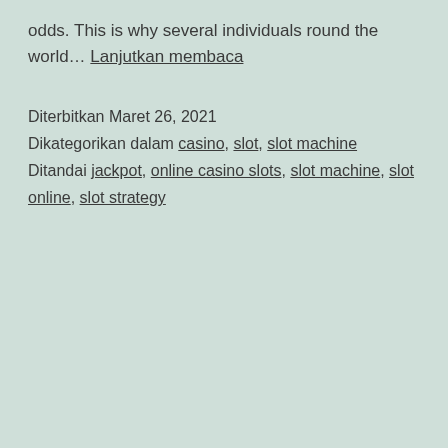odds. This is why several individuals round the world… Lanjutkan membaca
Diterbitkan Maret 26, 2021
Dikategorikan dalam casino, slot, slot machine
Ditandai jackpot, online casino slots, slot machine, slot online, slot strategy